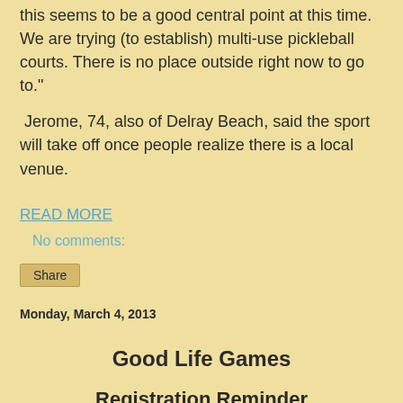this seems to be a good central point at this time. We are trying (to establish) multi-use pickleball courts. There is no place outside right now to go to."
Jerome, 74, also of Delray Beach, said the sport will take off once people realize there is a local venue.
READ MORE
No comments:
Share
Monday, March 4, 2013
Good Life Games
Registration Reminder
It time to register for the 2013 Good Life Games